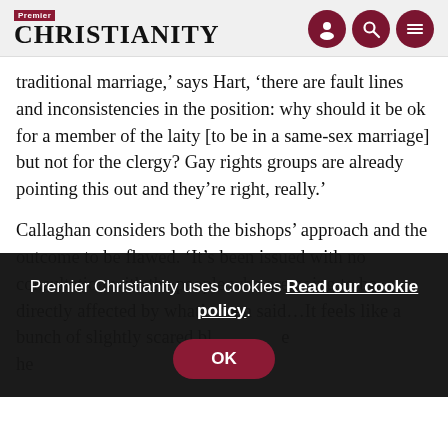Premier Christianity
traditional marriage,' says Hart, 'there are fault lines and inconsistencies in the position: why should it be ok for a member of the laity [to be in a same-sex marriage] but not for the clergy? Gay rights groups are already pointing this out and they’re right, really.'
Callaghan considers both the bishops’ approach and the outcome to be flawed. ‘It’s been issued with no consultation with the people who are going to be directly affected by what’s been said…It feels like a bunch of slightly scared bl[...] he[...]
Premier Christianity uses cookies Read our cookie policy.
Fu[...]
C[...] challenge the new legislation are aware that it may be a long process. It seems the greater frustration is felt over